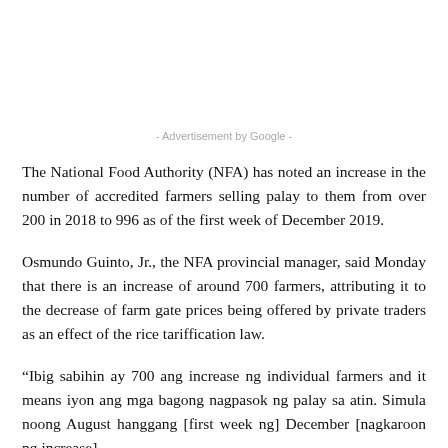- Advertisement by Google -
The National Food Authority (NFA) has noted an increase in the number of accredited farmers selling palay to them from over 200 in 2018 to 996 as of the first week of December 2019.
Osmundo Guinto, Jr., the NFA provincial manager, said Monday that there is an increase of around 700 farmers, attributing it to the decrease of farm gate prices being offered by private traders as an effect of the rice tariffication law.
“Ibig sabihin ay 700 ang increase ng individual farmers and it means iyon ang mga bagong nagpasok ng palay sa atin. Simula noong August hanggang [first week ng] December [nagkaroon ng increase]